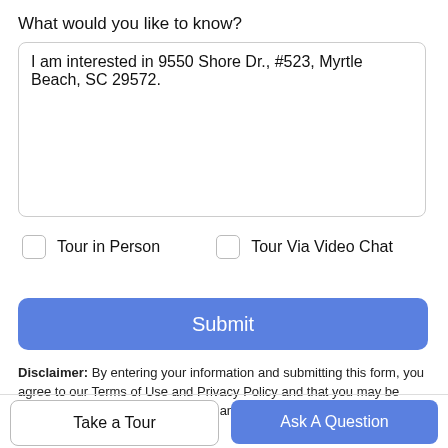What would you like to know?
I am interested in 9550 Shore Dr., #523, Myrtle Beach, SC 29572.
Tour in Person
Tour Via Video Chat
Submit
Disclaimer: By entering your information and submitting this form, you agree to our Terms of Use and Privacy Policy and that you may be contacted by phone, text message and email about your inquiry.
Take a Tour
Ask A Question